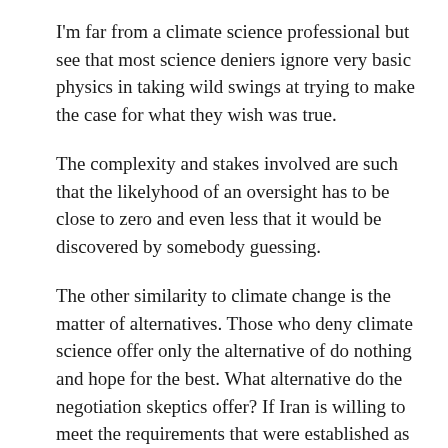I'm far from a climate science professional but see that most science deniers ignore very basic physics in taking wild swings at trying to make the case for what they wish was true.
The complexity and stakes involved are such that the likelyhood of an oversight has to be close to zero and even less that it would be discovered by somebody guessing.
The other similarity to climate change is the matter of alternatives. Those who deny climate science offer only the alternative of do nothing and hope for the best. What alternative do the negotiation skeptics offer? If Iran is willing to meet the requirements that were established as the